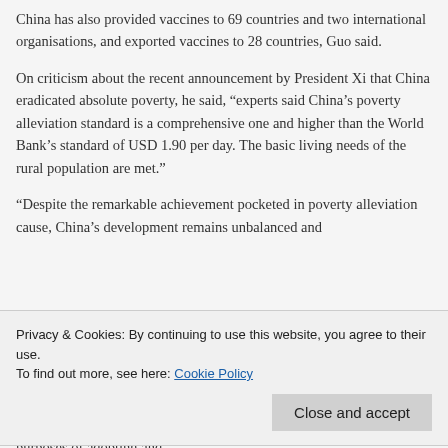China has also provided vaccines to 69 countries and two international organisations, and exported vaccines to 28 countries, Guo said.
On criticism about the recent announcement by President Xi that China eradicated absolute poverty, he said, “experts said China’s poverty alleviation standard is a comprehensive one and higher than the World Bank’s standard of USD 1.90 per day. The basic living needs of the rural population are met.”
“Despite the remarkable achievement pocketed in poverty alleviation cause, China’s development remains unbalanced and
Privacy & Cookies: By continuing to use this website, you agree to their use.
To find out more, see here: Cookie Policy
Hong Kong, much against the wishes of local people, he said the purposes of adopting and